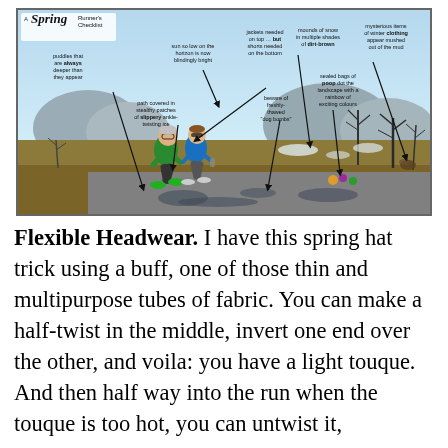[Figure (illustration): A humorous cartoon titled 'A Spring Runner's Checklist' showing two runners on a spring trail. Multiple annotated labels point to various spring running hazards: puddles that are always deeper than they appear, sun so low on the horizon is now blindingly bright, path covered in stealthy patches of slippery ankle-twisting ice, jackets needed on top but shorts needed on the bottom, mounds of snow in multiple shades of dirt-brown, mysterious items of winter clothing appear mushed out of the mud, beware of freshly-thawed 'dog bombs', sealed bags of poop dot the landscape with a rainbow of exciting colours.]
Flexible Headwear. I have this spring hat trick using a buff, one of those thin and multipurpose tubes of fabric. You can make a half-twist in the middle, invert one end over the other, and voila: you have a light touque. And then half way into the run when the touque is too hot, you can untwist it,